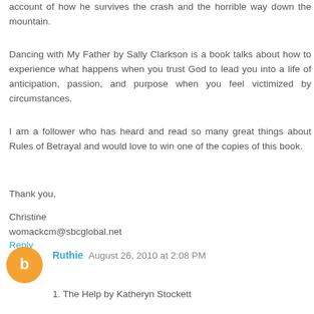account of how he survives the crash and the horrible way down the mountain.
Dancing with My Father by Sally Clarkson is a book talks about how to experience what happens when you trust God to lead you into a life of anticipation, passion, and purpose when you feel victimized by circumstances.
I am a follower who has heard and read so many great things about Rules of Betrayal and would love to win one of the copies of this book.
Thank you,
Christine
womackcm@sbcglobal.net
Reply
Ruthie  August 26, 2010 at 2:08 PM
1. The Help by Katheryn Stockett